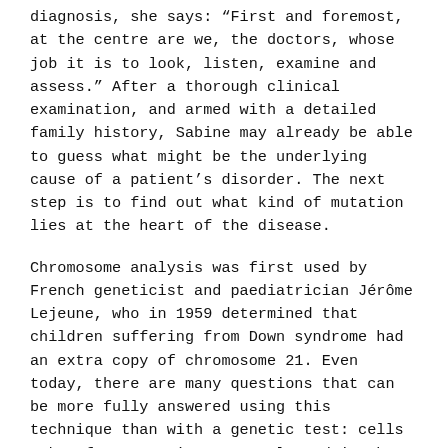diagnosis, she says: “First and foremost, at the centre are we, the doctors, whose job it is to look, listen, examine and assess.” After a thorough clinical examination, and armed with a detailed family history, Sabine may already be able to guess what might be the underlying cause of a patient’s disorder. The next step is to find out what kind of mutation lies at the heart of the disease.
Chromosome analysis was first used by French geneticist and paediatrician Jérôme Lejeune, who in 1959 determined that children suffering from Down syndrome had an extra copy of chromosome 21. Even today, there are many questions that can be more fully answered using this technique than with a genetic test: cells taken from a patient are cultured in the lab, then fixed, prepared and stained so that their chromosomes can be studied under the microscope.